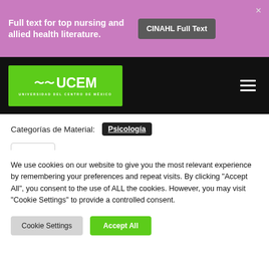[Figure (screenshot): CINAHL Full Text promotional banner with pink/mauve background. Text reads 'Full text for top nursing and allied health literature.' with a grey 'CINAHL Full Text' button.]
[Figure (logo): UCEM Universidad del Centro de México logo on green background in black navigation bar with hamburger menu icon.]
Categorías de Material: Psicología
▲ Perfil
● Opinión del Recurso
We use cookies on our website to give you the most relevant experience by remembering your preferences and repeat visits. By clicking "Accept All", you consent to the use of ALL the cookies. However, you may visit "Cookie Settings" to provide a controlled consent.
Cookie Settings
Accept All